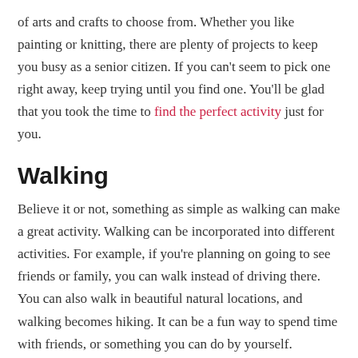of arts and crafts to choose from. Whether you like painting or knitting, there are plenty of projects to keep you busy as a senior citizen. If you can't seem to pick one right away, keep trying until you find one. You'll be glad that you took the time to find the perfect activity just for you.
Walking
Believe it or not, something as simple as walking can make a great activity. Walking can be incorporated into different activities. For example, if you're planning on going to see friends or family, you can walk instead of driving there. You can also walk in beautiful natural locations, and walking becomes hiking. It can be a fun way to spend time with friends, or something you can do by yourself.
Gardening
If you have a backyard, then it might be time to start doing